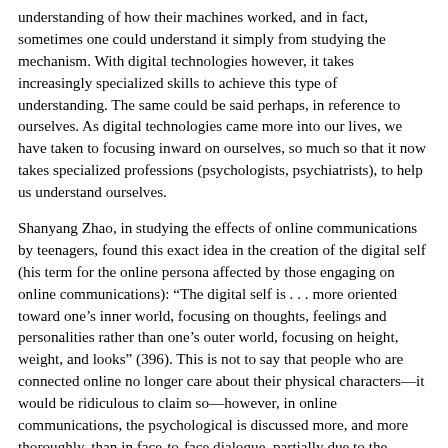understanding of how their machines worked, and in fact, sometimes one could understand it simply from studying the mechanism. With digital technologies however, it takes increasingly specialized skills to achieve this type of understanding. The same could be said perhaps, in reference to ourselves. As digital technologies came more into our lives, we have taken to focusing inward on ourselves, so much so that it now takes specialized professions (psychologists, psychiatrists), to help us understand ourselves.
Shanyang Zhao, in studying the effects of online communications by teenagers, found this exact idea in the creation of the digital self (his term for the online persona affected by those engaging on online communications): “The digital self is . . . more oriented toward one’s inner world, focusing on thoughts, feelings and personalities rather than one’s outer world, focusing on height, weight, and looks” (396). This is not to say that people who are connected online no longer care about their physical characters—it would be ridiculous to claim so—however, in online communications, the psychological is discussed more, and more thoroughly, than in face-to-face dialogue, partially due to the anonymity digital communication can provide.
Digital Communication
As mentioned above, the difference between analog and digital is